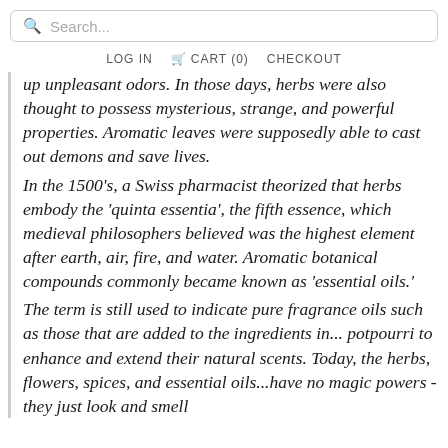Search...
LOG IN  CART (0)  CHECKOUT
up unpleasant odors. In those days, herbs were also thought to possess mysterious, strange, and powerful properties. Aromatic leaves were supposedly able to cast out demons and save lives. In the 1500's, a Swiss pharmacist theorized that herbs embody the 'quinta essentia', the fifth essence, which medieval philosophers believed was the highest element after earth, air, fire, and water. Aromatic botanical compounds commonly became known as 'essential oils.' The term is still used to indicate pure fragrance oils such as those that are added to the ingredients in... potpourri to enhance and extend their natural scents. Today, the herbs, flowers, spices, and essential oils...have no magic powers - they just look and smell